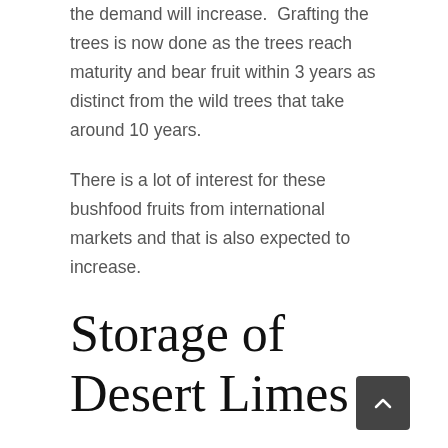the demand will increase. Grafting the trees is now done as the trees reach maturity and bear fruit within 3 years as distinct from the wild trees that take around 10 years.
There is a lot of interest for these bushfood fruits from international markets and that is also expected to increase.
Storage of Desert Limes
The commercial fruits are harvested from December thru to March and they will last in the fridge for a week or so, but generally they go straight into the freezer from the orchard to